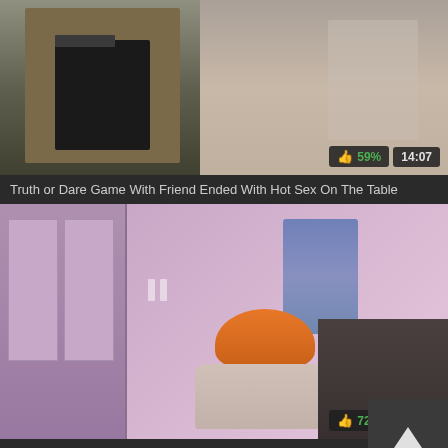[Figure (screenshot): Video thumbnail showing two people in a kitchen/room setting with a dark cabinet]
Truth or Dare Game With Friend Ended With Hot Sex On The Table
[Figure (screenshot): Video thumbnail showing a person with orange/red hair in a pink-lit bedroom]
Cozy Homemade Sex With All Natural Teen Girlfriend
[Figure (screenshot): Partial video thumbnail showing two scenes side by side]